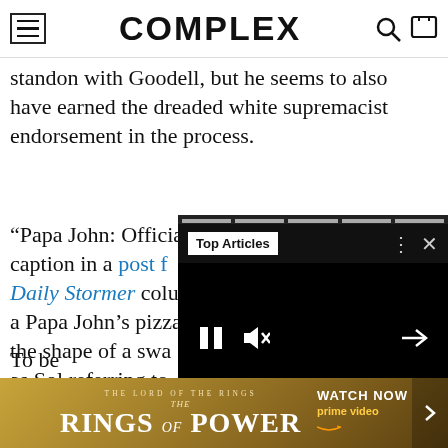COMPLEX
standon with Goodell, but he seems to also have earned the dreaded white supremacist endorsement in the process.
"Papa John: Official [post from the Daily Stormer column] ... a Papa John's pizza ... the shape of a swa... as Sol referring to ... While directly quo... his tanking sales w... writing, "This is great...
[Figure (screenshot): Video player overlay with 'Top Articles' badge, pause button, mute button, and right arrow on dark background]
[Figure (other): Advertisement banner for 'The Lord of the Rings: The Rings of Power' on Prime Video with golden background]
To be...